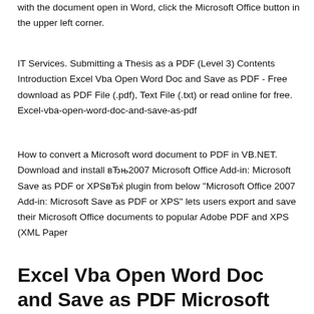with the document open in Word, click the Microsoft Office button in the upper left corner.
IT Services. Submitting a Thesis as a PDF (Level 3) Contents Introduction Excel Vba Open Word Doc and Save as PDF - Free download as PDF File (.pdf), Text File (.txt) or read online for free. Excel-vba-open-word-doc-and-save-as-pdf
How to convert a Microsoft word document to PDF in VB.NET. Download and install вЂњ2007 Microsoft Office Add-in: Microsoft Save as PDF or XPSвЂ஬plugin from below "Microsoft Office 2007 Add-in: Microsoft Save as PDF or XPS" lets users export and save their Microsoft Office documents to popular Adobe PDF and XPS (XML Paper
Excel Vba Open Word Doc and Save as PDF Microsoft Excel